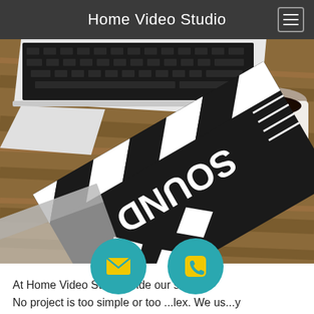Home Video Studio
[Figure (photo): Photo of a film clapperboard with 'SOUND' text, a laptop keyboard, and a white coffee cup on a wooden desk surface]
[Figure (infographic): Two teal circular floating action buttons: one with a yellow envelope/email icon, one with a yellow phone icon]
At Home Video Studio, Video is our s... No project is too simple or too...lex. We us...y the best professional computer and video